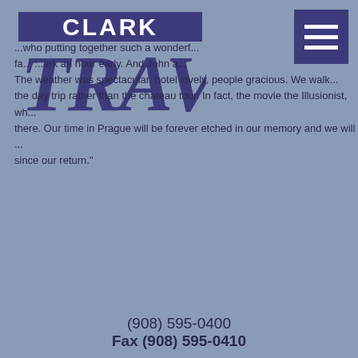[Figure (logo): Clark Travel logo with blue stylized TRAVEL text and CLARK above]
...who putting together such a wonderful fa... ...ark an hour early. And John a... The weather was spectacular, hotel lovely, people gracious. We walk... the day trip rather than the chateau tour. In fact, the movie the Illusionist, wh... there. Our time in Prague will be forever etched in our memory and we will ... since our return."
(908) 595-0400
Fax (908) 595-0410